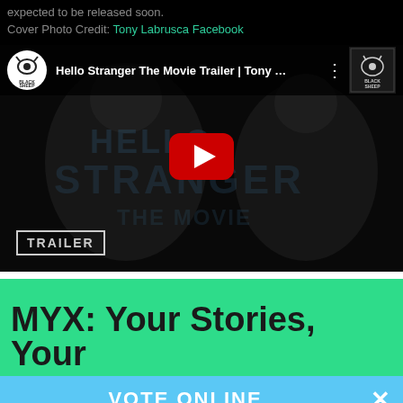expected to be released soon.
Cover Photo Credit: Tony Labrusca Facebook
[Figure (screenshot): YouTube video embed showing 'Hello Stranger The Movie Trailer | Tony ...' with Black Sheep channel logo, play button, and TRAILER badge overlay on a dark movie scene with two young men]
MYX: Your Stories, Your
VOTE ONLINE